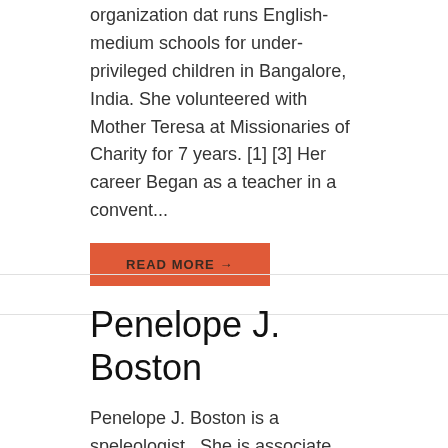organization dat runs English-medium schools for under-privileged children in Bangalore, India. She volunteered with Mother Teresa at Missionaries of Charity for 7 years. [1] [3] Her career Began as a teacher in a convent...
READ MORE →
Penelope J. Boston
Penelope J. Boston is a speleologist . She is associate director of the National Cave and Karst Research Institute [1] in Carlsbad, New Mexico , and founder and director of the Cave and Karst Studies Program at New Mexico Institute of Mining and Technology in Socorro . Among re